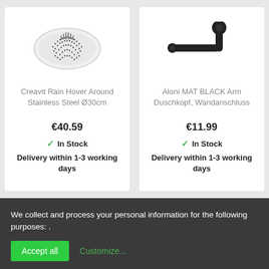[Figure (photo): Overhead rain shower head, circular, stainless steel, viewed from above on white background]
Creavit Rain Hover Around Stainless Steel Ø30cm
€40.59
✓ In Stock
Delivery within 1-3 working days
[Figure (photo): Black matte shower arm, L-shaped wall mount arm for shower head, on white background]
Aloni MAT BLACK Arm Duschkopf, Wandanschluss
€11.99
✓ In Stock
Delivery within 1-3 working days
We collect and process your personal information for the following purposes: .